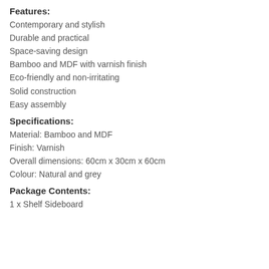Features:
Contemporary and stylish
Durable and practical
Space-saving design
Bamboo and MDF with varnish finish
Eco-friendly and non-irritating
Solid construction
Easy assembly
Specifications:
Material: Bamboo and MDF
Finish: Varnish
Overall dimensions: 60cm x 30cm x 60cm
Colour: Natural and grey
Package Contents:
1 x Shelf Sideboard